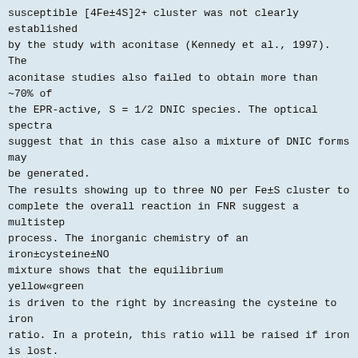susceptible [4Fe±4S]2+ cluster was not clearly established
by the study with aconitase (Kennedy et al., 1997). The
aconitase studies also failed to obtain more than ~70% of
the EPR-active, S = 1/2 DNIC species. The optical spectra
suggest that in this case also a mixture of DNIC forms may
be generated.
The results showing up to three NO per Fe±S cluster to
complete the overall reaction in FNR suggest a multistep
process. The inorganic chemistry of an iron±cysteine±NO
mixture shows that the equilibrium yellow«green
is driven to the right by increasing the cysteine to iron
ratio. In a protein, this ratio will be raised if iron is lost.
Hence, iron released from [4Fe±4S]2+ by NO will shift the
equilibrium between the two forms to the right. A possible
reaction scheme for FNR, therefore, is that NO converts
NO-sensing role of FNR
Fig. 8. NO-mediated mechanism of anaerobic up-regulation of the
Fumarate reductase FNR for more susceptible than usual